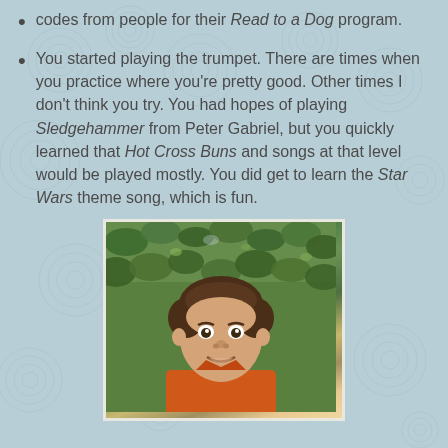codes from people for their Read to a Dog program.
You started playing the trumpet. There are times when you practice where you're pretty good. Other times I don't think you try. You had hopes of playing Sledgehammer from Peter Gabriel, but you quickly learned that Hot Cross Buns and songs at that level would be played mostly. You did get to learn the Star Wars theme song, which is fun.
[Figure (photo): A young boy with short brown hair wearing an orange shirt, standing in front of green leafy bushes, smiling at the camera.]